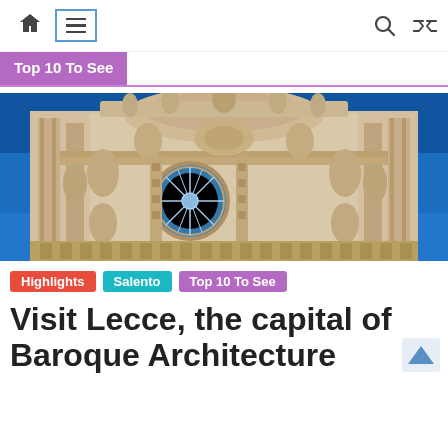Navigation bar with home icon, hamburger menu, search icon, shuffle icon
Top 10 To See
[Figure (photo): Close-up photograph of an ornate Baroque church facade in Lecce, Italy, with intricate stone carvings, columns, and a rose window against a bright blue sky]
Highlights   Salento   Top 10 To See
Visit Lecce, the capital of Baroque Architecture